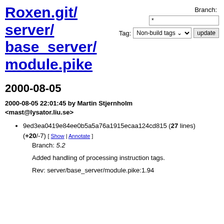Roxen.git/server/base_server/module.pike
Branch: *
Tag: Non-build tags  update
2000-08-05
2000-08-05 22:01:45 by Martin Stjernholm <mast@lysator.liu.se>
9ed3ea0419e84ee0b5a5a76a1915ecaa124cd815 (27 lines) (+20/-7) [ Show | Annotate ]
Branch: 5.2

Added handling of processing instruction tags.

Rev: server/base_server/module.pike:1.94